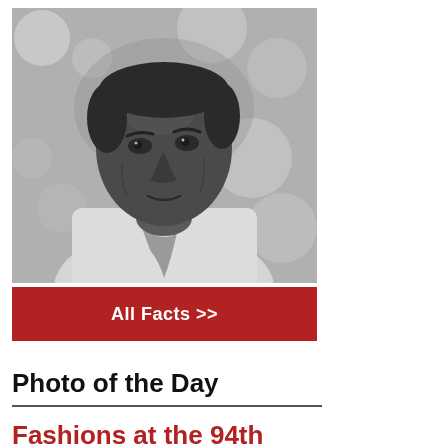[Figure (photo): Black and white portrait photograph of a man looking slightly upward to the left, wearing a light shirt with a loosely tied scarf/cravat around his neck. The background is blurred with bokeh effect suggesting an outdoor setting with trees.]
All Facts >>
Photo of the Day
Fashions at the 94th